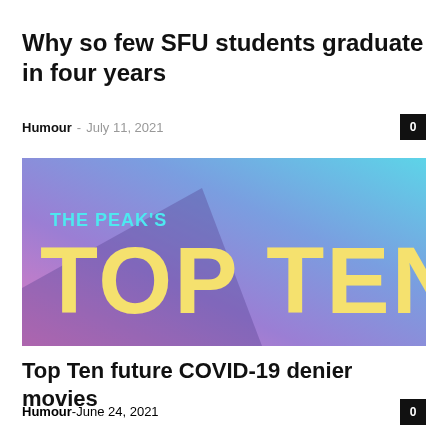Why so few SFU students graduate in four years
Humour - July 11, 2021
[Figure (illustration): The Peak's Top Ten graphic — gradient background from pink/purple to cyan/blue with shadow text reading 'THE PEAK'S TOP TEN' in yellow bold letters]
Top Ten future COVID-19 denier movies
Humour - June 24, 2021